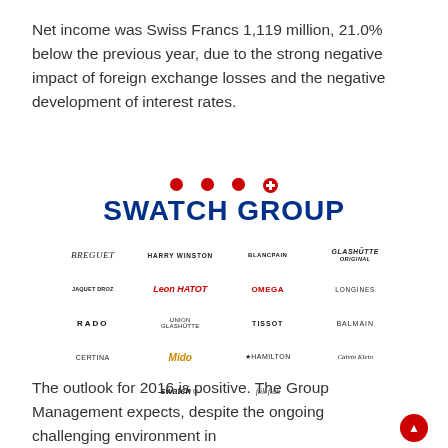Net income was Swiss Francs 1,119 million, 21.0% below the previous year, due to the strong negative impact of foreign exchange losses and the negative development of interest rates.
[Figure (logo): Swatch Group logo with brand grid showing: Breguet, Harry Winston, Blancpain, Glashütte, Jaquet Droz, Leon Hatot, Omega, Longines, Rado, Union Glashütte, Tissot, Balmain, Certina, Mido, Hamilton, Calvin Klein, Swatch, Flik Flak]
The outlook for 2016 is positive. The Group Management expects, despite the ongoing challenging environment in